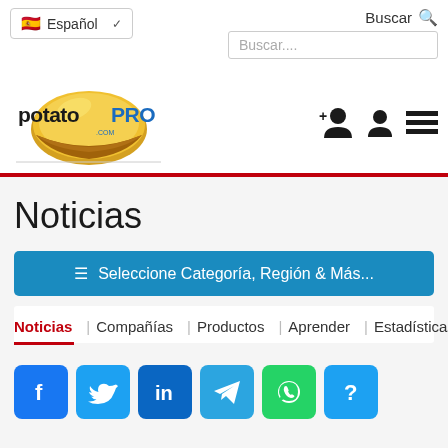potatoPRO.com - Español - Buscar
Noticias
Seleccione Categoría, Región & Más...
Noticias | Compañías | Productos | Aprender | Estadísticas
[Figure (screenshot): Social media share buttons: Facebook, Twitter, LinkedIn, Telegram, WhatsApp, and unknown]